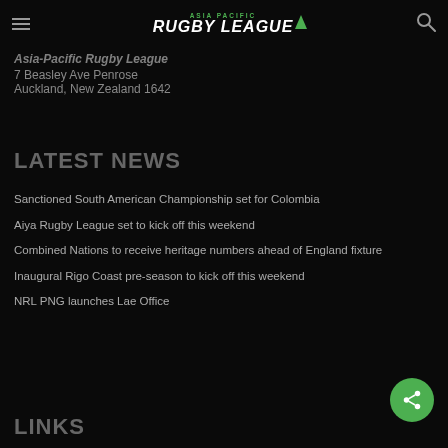Asia Pacific Rugby League — navigation header
Asia-Pacific Rugby League
7 Beasley Ave Penrose
Auckland, New Zealand 1642
LATEST NEWS
Sanctioned South American Championship set for Colombia
Aiya Rugby League set to kick off this weekend
Combined Nations to receive heritage numbers ahead of England fixture
Inaugural Rigo Coast pre-season to kick off this weekend
NRL PNG launches Lae Office
LINKS